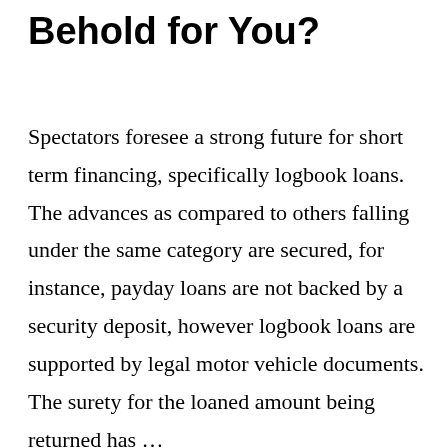Behold for You?
Spectators foresee a strong future for short term financing, specifically logbook loans. The advances as compared to others falling under the same category are secured, for instance, payday loans are not backed by a security deposit, however logbook loans are supported by legal motor vehicle documents. The surety for the loaned amount being returned has …